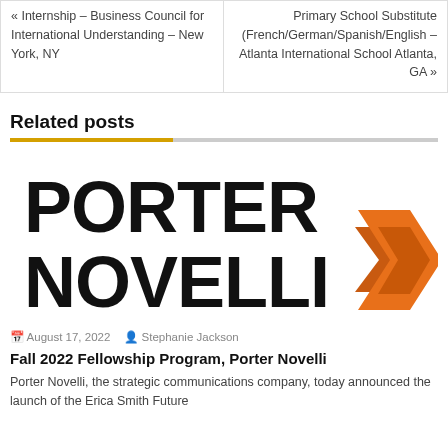« Internship – Business Council for International Understanding – New York, NY
Primary School Substitute (French/German/Spanish/English – Atlanta International School Atlanta, GA »
Related posts
[Figure (logo): Porter Novelli logo with bold black text and orange chevron arrow pointing right]
August 17, 2022   Stephanie Jackson
Fall 2022 Fellowship Program, Porter Novelli
Porter Novelli, the strategic communications company, today announced the launch of the Erica Smith Future